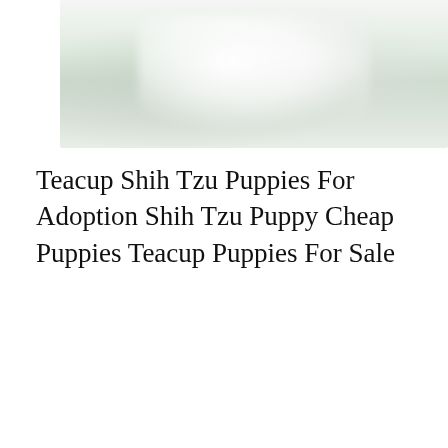[Figure (photo): Blurry photo of white teacup Shih Tzu puppies on a green surface, top portion of page]
Teacup Shih Tzu Puppies For Adoption Shih Tzu Puppy Cheap Puppies Teacup Puppies For Sale
[Figure (photo): Photo of a small Shih Tzu puppy named Marley against a pink background, with italic 'Marley' text overlay and 'HealthyPets' watermark]